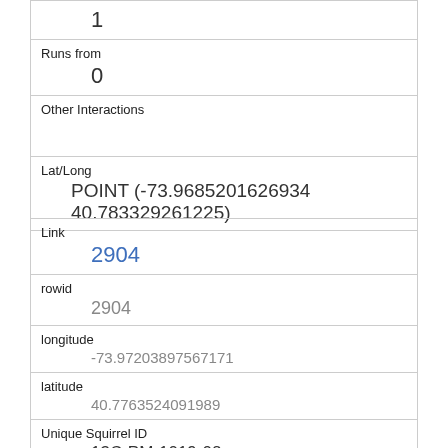| 1 |
| Runs from | 0 |
| Other Interactions |  |
| Lat/Long | POINT (-73.9685201626934 40.783329261225) |
| Link | 2904 |
| rowid | 2904 |
| longitude | -73.97203897567171 |
| latitude | 40.7763524091989 |
| Unique Squirrel ID | 13C-PM-1019-02 |
| Hectare | 13C |